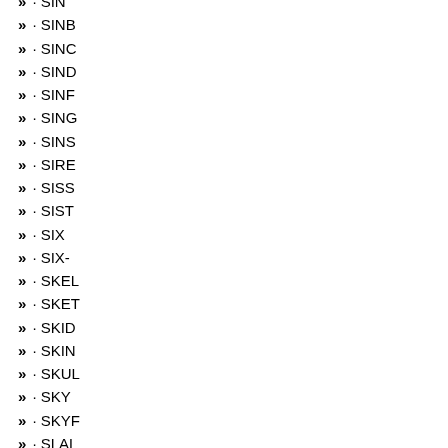» · SIN
» · SINB
» · SINC
» · SIND
» · SINF
» · SING
» · SINS
» · SIRE
» · SISS
» · SIST
» · SIX
» · SIX-
» · SKEL
» · SKET
» · SKID
» · SKIN
» · SKUL
» · SKY
» · SKYF
» · SLAL
» · SLAP
» · SLAS
» · SLAU
» · SLAV
» · SLEE
» · SLEN